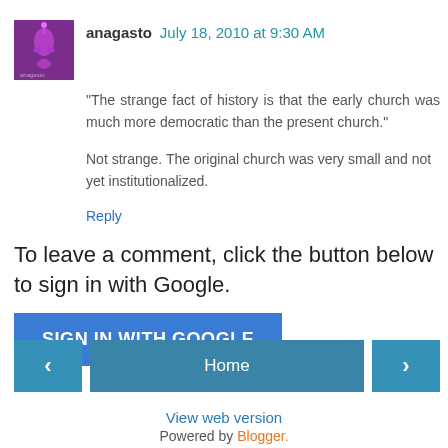anagasto  July 18, 2010 at 9:30 AM
"The strange fact of history is that the early church was much more democratic than the present church."
Not strange. The original church was very small and not yet institutionalized.
Reply
To leave a comment, click the button below to sign in with Google.
SIGN IN WITH GOOGLE
‹
Home
›
View web version
Powered by Blogger.